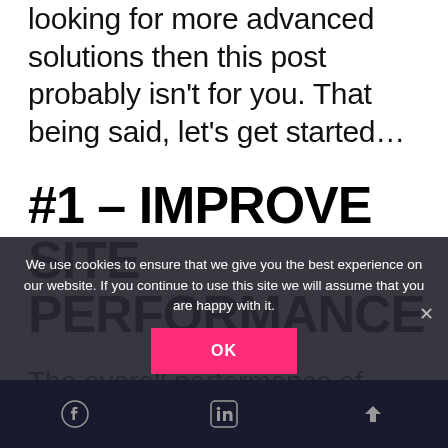looking for more advanced solutions then this post probably isn't for you. That being said, let's get started…
#1 – IMPROVE SITE PERFORMANCE
The overall performance of your website plays a crucial role in deciding where Google positions
We use cookies to ensure that we give you the best experience on our website. If you continue to use this site we will assume that you are happy with it.
OK [footer icons: Facebook, LinkedIn, scroll-up]